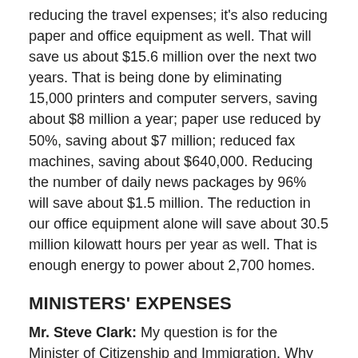reducing the travel expenses; it's also reducing paper and office equipment as well. That will save us about $15.6 million over the next two years. That is being done by eliminating 15,000 printers and computer servers, saving about $8 million a year; paper use reduced by 50%, saving about $7 million; reduced fax machines, saving about $640,000. Reducing the number of daily news packages by 96% will save about $1.5 million. The reduction in our office equipment alone will save about 30.5 million kilowatt hours per year as well. That is enough energy to power about 2,700 homes.
MINISTERS' EXPENSES
Mr. Steve Clark: My question is for the Minister of Citizenship and Immigration. Why could the Minister of Health Promotion and the Minister of Training, College and Universities post their monthly expenses up to December 2010 and you won't?